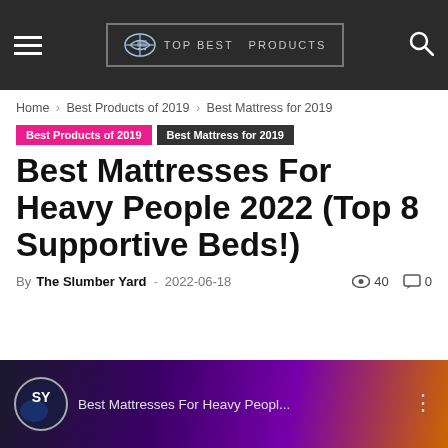TOP BEST PRODUCTS
Home › Best Products of 2019 › Best Mattress for 2019
Best Products of 2019  Best Mattress for 2019
Best Mattresses For Heavy People 2022 (Top 8 Supportive Beds!)
By The Slumber Yard - 2022-06-18   40   0
[Figure (screenshot): YouTube video thumbnail showing 'Best Mattresses For Heavy Peopl...' with SY logo avatar on a colorful background]